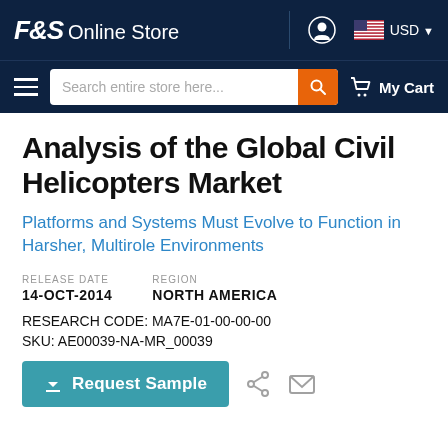F&S Online Store | USD
Analysis of the Global Civil Helicopters Market
Platforms and Systems Must Evolve to Function in Harsher, Multirole Environments
RELEASE DATE: 14-OCT-2014  REGION: NORTH AMERICA
RESEARCH CODE: MA7E-01-00-00-00
SKU: AE00039-NA-MR_00039
Request Sample